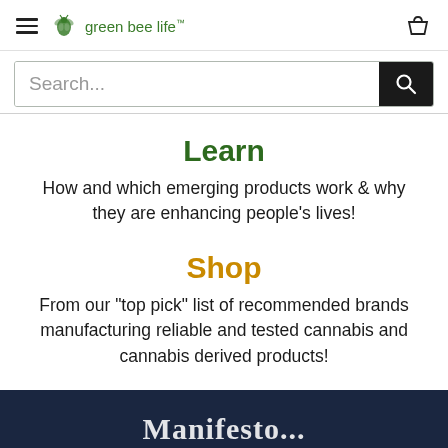green bee life™
[Figure (screenshot): Search bar with placeholder text 'Search...' and a black search button with magnifying glass icon]
Learn
How and which emerging products work & why they are enhancing people's lives!
Shop
From our "top pick" list of recommended brands manufacturing reliable and tested cannabis and cannabis derived products!
Manifesto...